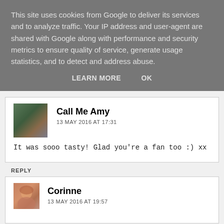This site uses cookies from Google to deliver its services and to analyze traffic. Your IP address and user-agent are shared with Google along with performance and security metrics to ensure quality of service, generate usage statistics, and to detect and address abuse.
LEARN MORE   OK
Call Me Amy
13 MAY 2016 AT 17:31
It was sooo tasty! Glad you're a fan too :) xx
REPLY
Corinne
13 MAY 2016 AT 19:57